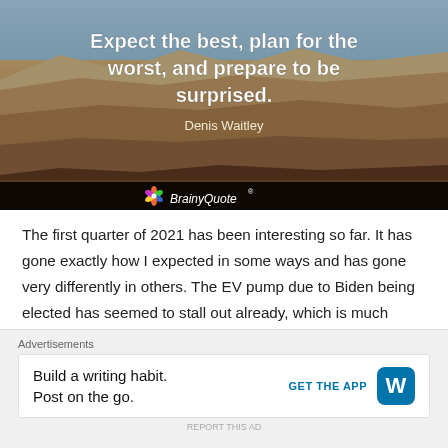[Figure (photo): Grand Canyon landscape photo with motivational quote overlaid. Bold white text reads 'Expect the best, plan for the worst, and prepare to be surprised.' with attribution 'Denis Waitley'. BrainyQuote logo in black bar at bottom of image.]
The first quarter of 2021 has been interesting so far. It has gone exactly how I expected in some ways and has gone very differently in others. The EV pump due to Biden being elected has seemed to stall out already, which is much earlier than I expected it to start to
Advertisements
Build a writing habit. Post on the go.  GET THE APP